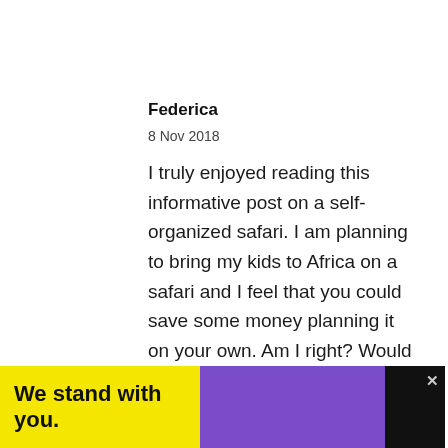Federica
8 Nov 2018
I truly enjoyed reading this informative post on a self-organized safari. I am planning to bring my kids to Africa on a safari and I feel that you could save some money planning it on your own. Am I right? Would you recommend it to a family with young children?
[Figure (other): Advertisement banner reading 'We stand with you.' with yellow, purple, and black sections, close button icons]